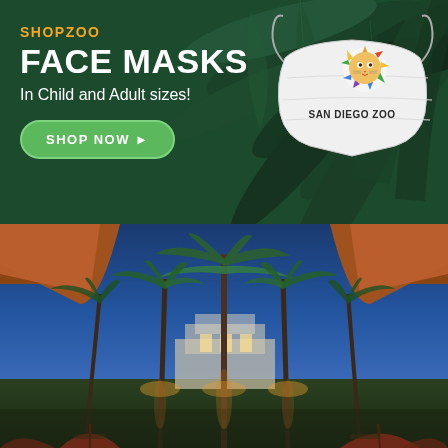[Figure (illustration): Top banner advertisement for ShopZoo face masks on a dark green tropical leaf background. Shows a white San Diego Zoo branded face mask with colorful lion logo. Text reads SHOPZOO, FACE MASKS, In Child and Adult sizes!, with a green SHOP NOW button.]
[Figure (photo): Bottom half shows a nighttime photo of a resort or zoo setting with tall illuminated palm trees under a blue twilight sky, red patio umbrellas at bottom, warm outdoor lighting, viewed through terracotta-colored arch or overhang framing.]